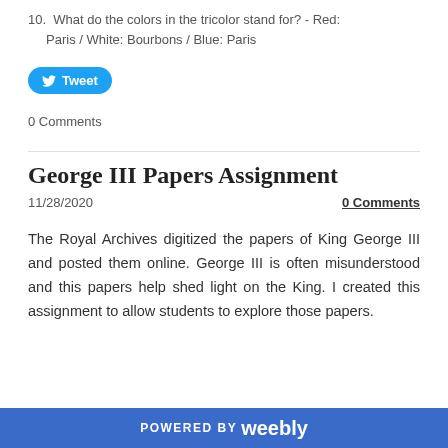10.  What do the colors in the tricolor stand for? - Red: Paris / White: Bourbons / Blue: Paris
[Figure (other): Twitter Tweet button (blue rounded pill button with Twitter bird icon and 'Tweet' text)]
0 Comments
George III Papers Assignment
11/28/2020
0 Comments
The Royal Archives digitized the papers of King George III and posted them online. George III is often misunderstood and this papers help shed light on the King. I created this assignment to allow students to explore those papers.
POWERED BY weebly